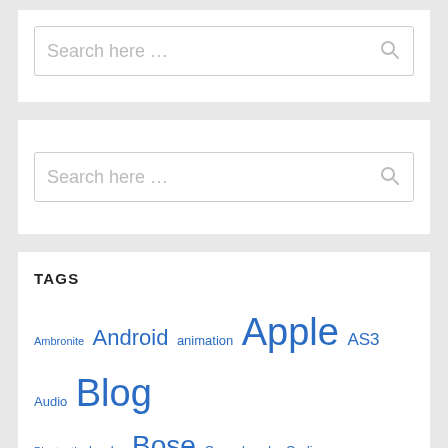[Figure (screenshot): Search box widget with placeholder text 'Search here …' and a search icon on the right]
[Figure (screenshot): Second search box widget with placeholder text 'Search here …' and a search icon on the right]
TAGS
Ambronite Android animation Apple AS3 Audio Blog Bluetooth books Bose Cocoaheads Coding colors design Develop Developer Entertainment Flash food General Headphones helvetica Hiking iOS iOS 6 iPad iPhone logos Music